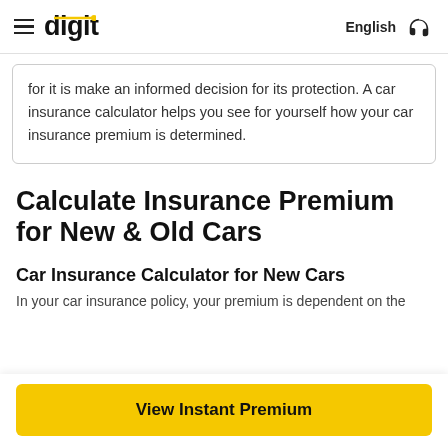digit   English
for it is make an informed decision for its protection. A car insurance calculator helps you see for yourself how your car insurance premium is determined.
Calculate Insurance Premium for New & Old Cars
Car Insurance Calculator for New Cars
In your car insurance policy, your premium is dependent on the
View Instant Premium